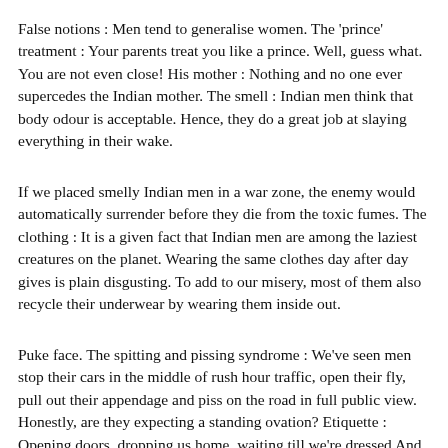False notions : Men tend to generalise women. The 'prince' treatment : Your parents treat you like a prince. Well, guess what. You are not even close! His mother : Nothing and no one ever supercedes the Indian mother. The smell : Indian men think that body odour is acceptable. Hence, they do a great job at slaying everything in their wake.
If we placed smelly Indian men in a war zone, the enemy would automatically surrender before they die from the toxic fumes. The clothing : It is a given fact that Indian men are among the laziest creatures on the planet. Wearing the same clothes day after day gives is plain disgusting. To add to our misery, most of them also recycle their underwear by wearing them inside out.
Puke face. The spitting and pissing syndrome : We've seen men stop their cars in the middle of rush hour traffic, open their fly, pull out their appendage and piss on the road in full public view. Honestly, are they expecting a standing ovation? Etiquette : Opening doors, dropping us home, waiting till we're dressed And